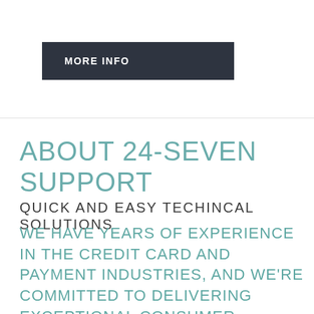MORE INFO
ABOUT 24-SEVEN SUPPORT
QUICK AND EASY TECHINCAL SOLUTIONS
WE HAVE YEARS OF EXPERIENCE IN THE CREDIT CARD AND PAYMENT INDUSTRIES, AND WE'RE COMMITTED TO DELIVERING EXCEPTIONAL CONSUMER SUPPORT WHEN AND HOW YOU NEED IT.